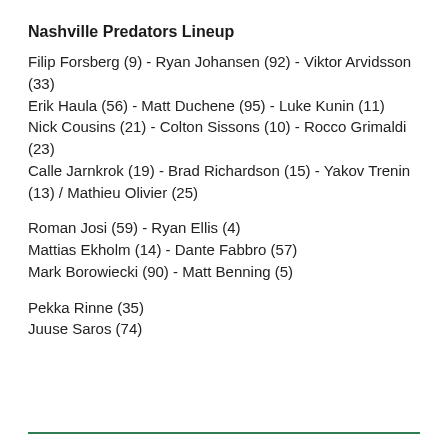Nashville Predators Lineup
Filip Forsberg (9) - Ryan Johansen (92) - Viktor Arvidsson (33)
Erik Haula (56) - Matt Duchene (95) - Luke Kunin (11)
Nick Cousins (21) - Colton Sissons (10) - Rocco Grimaldi (23)
Calle Jarnkrok (19) - Brad Richardson (15) - Yakov Trenin (13) / Mathieu Olivier (25)
Roman Josi (59) - Ryan Ellis (4)
Mattias Ekholm (14) - Dante Fabbro (57)
Mark Borowiecki (90) - Matt Benning (5)
Pekka Rinne (35)
Juuse Saros (74)